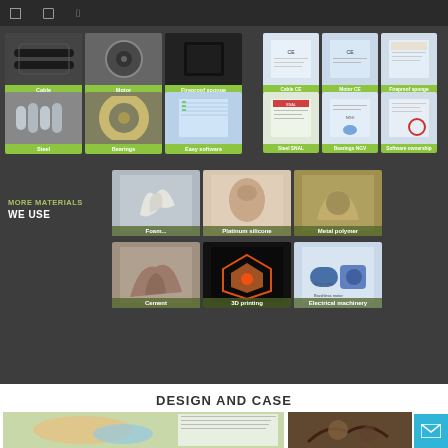[Figure (screenshot): Website screenshot showing product catalog with materials grid, certifications, and design cases section]
Cable | Motor | Fireproof sponge | Steel | Bearings | Easy software
Cable CE | Motor CE | Fireproof sponge | Steel SNAL | Bearings NGV | Software ownership
MORE MATERIALS WE USE
Foam... | Platinum silicone | Metal polymer | Cement | 3D printing | Electrical machinery
DESIGN AND CASE